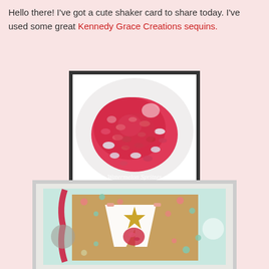Hello there!  I've got a cute shaker card to share today.  I've used some great Kennedy Grace Creations sequins.
[Figure (photo): Close-up photo of a pile of red and silver Kennedy Grace Creations sequins on a white surface, with watermark text 'Watermelon Spritzes']
[Figure (photo): Partially visible shaker card with a diamond/letter shape cutout showing red sequins inside, decorated with a gold star, pink and mint polka dot patterned paper, and a red ribbon, on a light mint background]